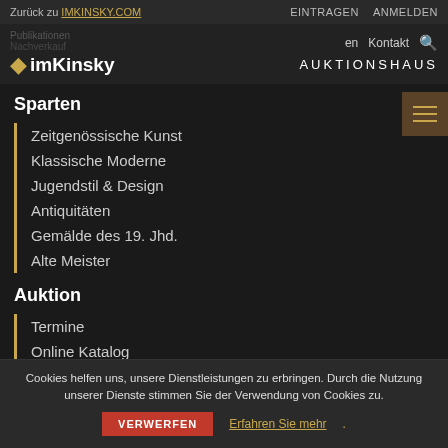Zurück zu IMKINSKY.COM | EINTRAGEN ANMELDEN
[Figure (logo): imKinsky Auktionshaus logo with gold star, navigation links including Publikationen, Nachverkauf, en, Kontakt, search icon, AUKTIONSHAUS]
Sparten
Zeitgenössische Kunst
Klassische Moderne
Jugendstil & Design
Antiquitäten
Gemälde des 19. Jhd.
Alte Meister
Auktion
Termine
Online Katalog
Cookies helfen uns, unsere Dienstleistungen zu erbringen. Durch die Nutzung unserer Dienste stimmen Sie der Verwendung von Cookies zu.
VERWERFEN
Erfahren Sie mehr.